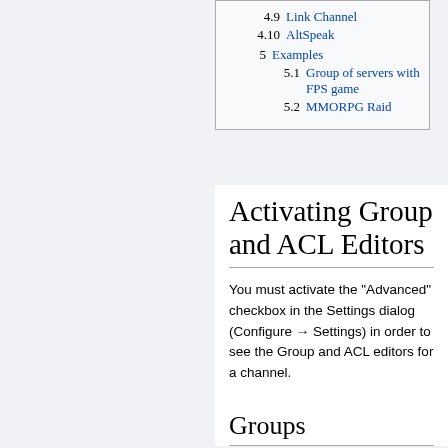4.9 Link Channel
4.10 AltSpeak
5 Examples
5.1 Group of servers with FPS game
5.2 MMORPG Raid
Activating Group and ACL Editors
You must activate the "Advanced" checkbox in the Settings dialog (Configure → Settings) in order to see the Group and ACL editors for a channel.
Groups